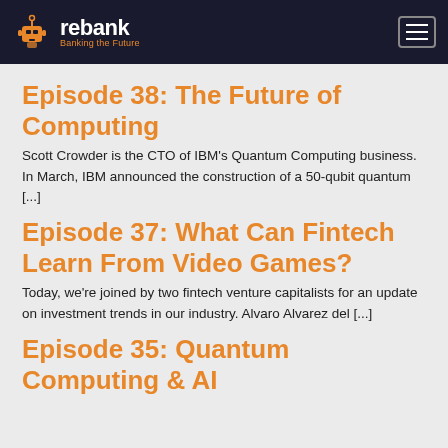rebank — Banking the Future
Episode 38: The Future of Computing
Scott Crowder is the CTO of IBM's Quantum Computing business. In March, IBM announced the construction of a 50-qubit quantum [...]
Episode 37: What Can Fintech Learn From Video Games?
Today, we're joined by two fintech venture capitalists for an update on investment trends in our industry. Alvaro Alvarez del [...]
Episode 35: Quantum Computing & AI